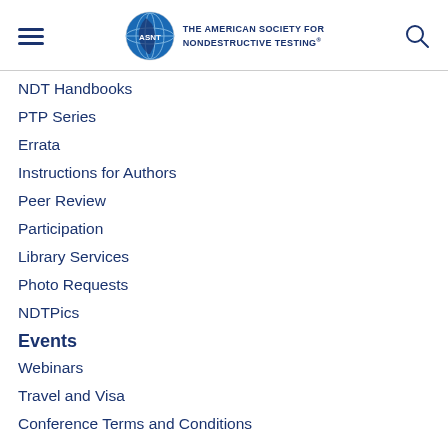[Figure (logo): ASNT globe logo with 'THE AMERICAN SOCIETY FOR NONDESTRUCTIVE TESTING' text]
NDT Handbooks
PTP Series
Errata
Instructions for Authors
Peer Review
Participation
Library Services
Photo Requests
NDTPics
Events
Webinars
Travel and Visa
Conference Terms and Conditions